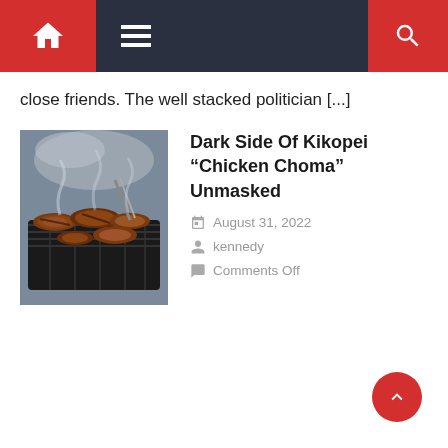Navigation bar with home icon, menu icon, and search icon
close friends. The well stacked politician [...]
[Figure (photo): Grilled meat (chicken/beef) cooking on a barbecue grill with smoke, outdoor setting]
Dark Side Of Kikopei “Chicken Choma” Unmasked
August 31, 2022
kennedy
Comments Off